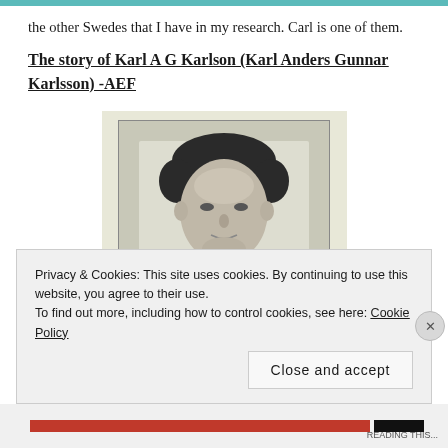the other Swedes that I have in my research. Carl is one of them.
The story of Karl A G Karlson (Karl Anders Gunnar Karlsson) -AEF
[Figure (photo): A black and white portrait photograph of a man, showing his face and upper head with dark hair, against a light background. The photo is printed on a pale cream/beige background.]
Privacy & Cookies: This site uses cookies. By continuing to use this website, you agree to their use.
To find out more, including how to control cookies, see here: Cookie Policy
Close and accept